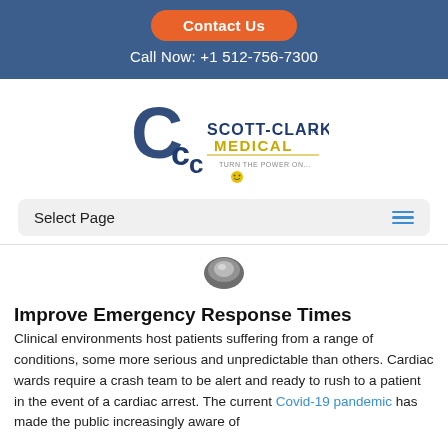Contact Us
Call Now: +1 512-756-7300
[Figure (logo): Scott-Clark Medical logo with stylized C and CC letters, text SCOTT-CLARK MEDICAL, TURN THE POWER ON... and a yellow smiley face icon]
Select Page
[Figure (photo): Small medical device image, dark circular device]
Improve Emergency Response Times
Clinical environments host patients suffering from a range of conditions, some more serious and unpredictable than others. Cardiac wards require a crash team to be alert and ready to rush to a patient in the event of a cardiac arrest. The current Covid-19 pandemic has made the public increasingly aware of